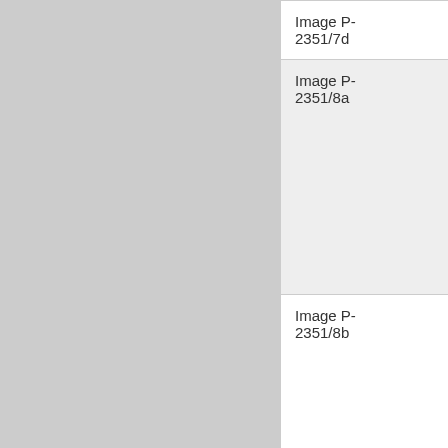| Image ID | Name / Description |
| --- | --- |
| Image P-2351/7d | Lee, Fitzhu… |
| Image P-2351/8a | Colburn, Albert V.
Photographe… R. W. Addis. Washington D.C. Image inscribed "Y… friend & commander… A. V. Colbur… |
| Image P-2351/8b | Thomas, Charles William (?)
Photographe… Kimberly Brothers, Fo… Monroe, Va. |
| Image P-2351/8c | Union colo…
Autograph illegible. Photographe… R. W. Addis… |